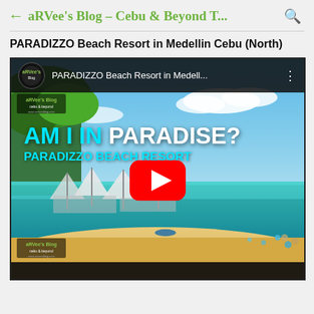← aRVee's Blog – Cebu & Beyond T... 🔍
PARADIZZO Beach Resort in Medellin Cebu (North)
[Figure (screenshot): YouTube video thumbnail showing PARADIZZO Beach Resort in Medellin, Cebu. The thumbnail shows a tropical beach scene with white sand, turquoise water, beach umbrellas and shade structures. Overlay text reads 'AM I IN PARADISE?' and 'PARADIZZO BEACH RESORT'. A red YouTube play button is centered. The video top bar shows the channel logo and title 'PARADIZZO Beach Resort in Medell...' with a three-dot menu icon. aRVee's Blog watermarks appear at top-left and bottom-left.]